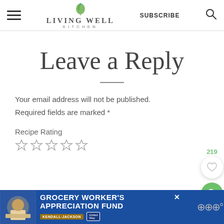Living Well Kitchen — SUBSCRIBE
Leave a Reply
Your email address will not be published. Required fields are marked *
Recipe Rating
[Figure (other): Five empty star rating icons for recipe rating]
[Figure (infographic): Advertisement banner: Grocery Worker's Appreciation Fund with Kendall Jackson and United Way logos]